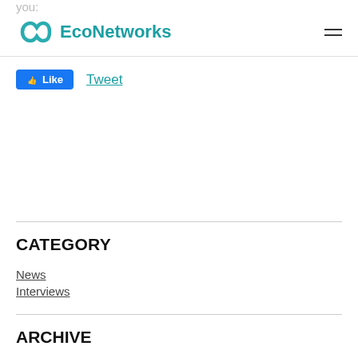EcoNetworks
[Figure (logo): EcoNetworks logo with teal infinity symbol and bold teal text 'EcoNetworks']
Like   Tweet
CATEGORY
News
Interviews
ARCHIVE